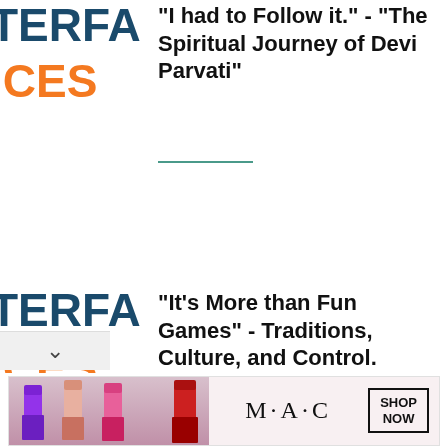[Figure (logo): TERFACES/ICES logo, partial, dark blue and orange, top left]
"I had to Follow it." - "The Spiritual Journey of Devi Parvati"
[Figure (logo): TERFACES/ICES logo, partial, dark blue and orange, middle left]
"It's More than Fun Games" - Traditions, Culture, and Control.
[Figure (logo): TERFACES/ICES logo, partial, dark blue and orange, lower left]
"It's not like there's just one path that I'm in for the rest of my life."
[Figure (other): MAC cosmetics advertisement with lipsticks, SHOP NOW button]